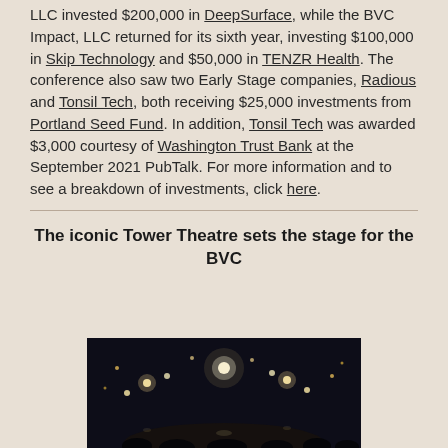LLC invested $200,000 in DeepSurface, while the BVC Impact, LLC returned for its sixth year, investing $100,000 in Skip Technology and $50,000 in TENZR Health. The conference also saw two Early Stage companies, Radious and Tonsil Tech, both receiving $25,000 investments from Portland Seed Fund. In addition, Tonsil Tech was awarded $3,000 courtesy of Washington Trust Bank at the September 2021 PubTalk. For more information and to see a breakdown of investments, click here.
The iconic Tower Theatre sets the stage for the BVC
[Figure (photo): Dark interior night scene of Tower Theatre with stage lights visible]